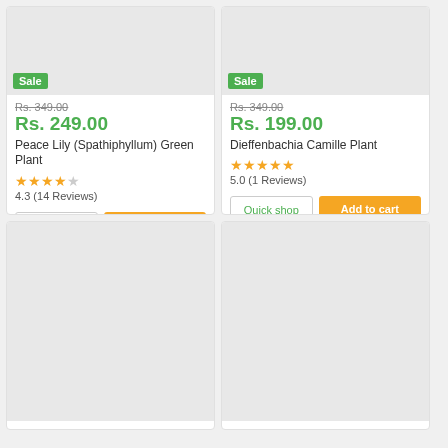[Figure (photo): Product image placeholder (gray) for Peace Lily plant with Sale badge]
Sale
Rs. 349.00 (strikethrough)
Rs. 249.00
Peace Lily (Spathiphyllum) Green Plant
4.3 (14 Reviews)
[Figure (photo): Product image placeholder (gray) for Dieffenbachia Camille Plant with Sale badge]
Sale
Rs. 349.00 (strikethrough)
Rs. 199.00
Dieffenbachia Camille Plant
5.0 (1 Reviews)
[Figure (photo): Product image placeholder (gray) – bottom left card]
[Figure (photo): Product image placeholder (gray) – bottom right card]